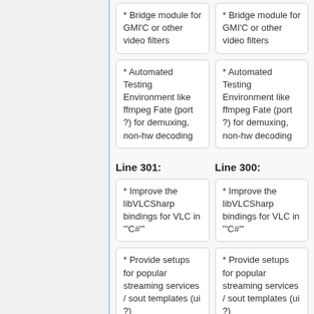* Bridge module for GMI'C or other video filters
* Bridge module for GMI'C or other video filters
* Automated Testing Environment like ffmpeg Fate (port ?) for demuxing, non-hw decoding
* Automated Testing Environment like ffmpeg Fate (port ?) for demuxing, non-hw decoding
Line 301:
Line 300:
* Improve the libVLCSharp bindings for VLC in '"C#"'
* Improve the libVLCSharp bindings for VLC in '"C#"'
* Provide setups for popular streaming services / sout templates (ui ?)
* Provide setups for popular streaming services / sout templates (ui ?)